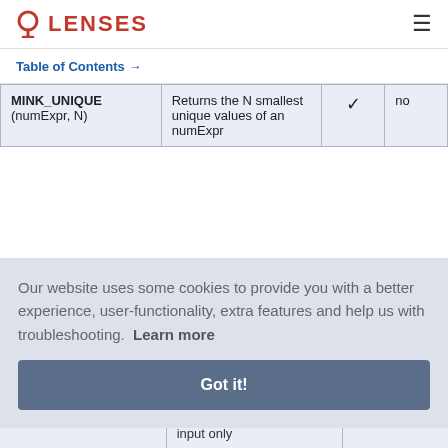LENSES
Table of Contents →
| Function | Description |  |  |
| --- | --- | --- | --- |
| MINK_UNIQUE (numExpr, N) | Returns the N smallest unique values of an numExpr | ✓ | no |
Our website uses some cookies to provide you with a better experience, user-functionality, extra features and help us with troubleshooting.  Learn more
Got it!
input only